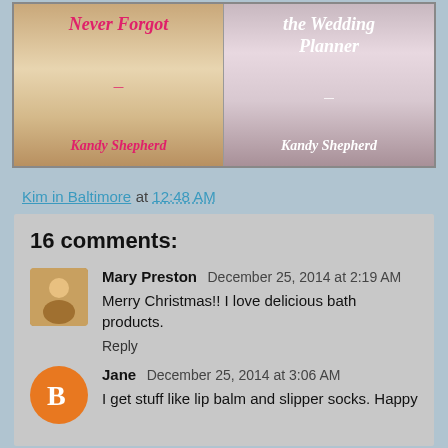[Figure (illustration): Two book covers by Kandy Shepherd side by side. Left cover shows 'Never Forgot' with a figure on wooden boards, right cover shows 'the Wedding Planner' with a couple embracing.]
Kim in Baltimore at 12:48 AM
16 comments:
Mary Preston December 25, 2014 at 2:19 AM
Merry Christmas!! I love delicious bath products.
Reply
Jane December 25, 2014 at 3:06 AM
I get stuff like lip balm and slipper socks. Happy